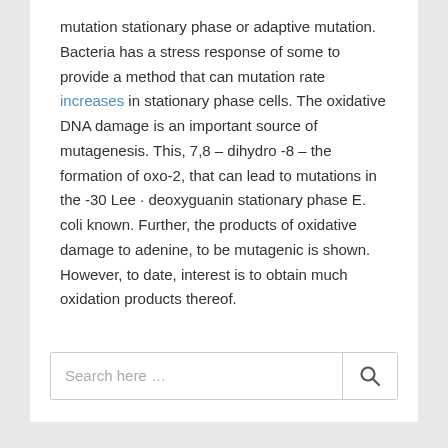mutation stationary phase or adaptive mutation. Bacteria has a stress response of some to provide a method that can mutation rate increases in stationary phase cells. The oxidative DNA damage is an important source of mutagenesis. This, 7,8 – dihydro -8 – the formation of oxo-2, that can lead to mutations in the -30 Lee · deoxyguanin stationary phase E. coli known. Further, the products of oxidative damage to adenine, to be mutagenic is shown. However, to date, interest is to obtain much oxidation products thereof.
Search here …